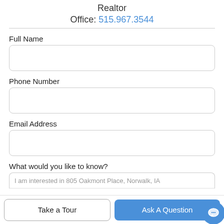Realtor
Office: 515.967.3544
Full Name
Phone Number
Email Address
What would you like to know?
I am interested in 805 Oakmont Place, Norwalk, IA
Take a Tour
Ask A Question